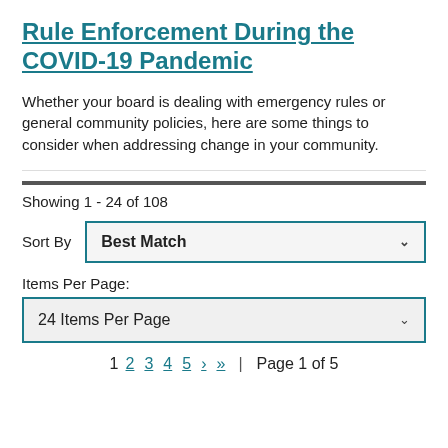Rule Enforcement During the COVID-19 Pandemic
Whether your board is dealing with emergency rules or general community policies, here are some things to consider when addressing change in your community.
Showing 1 - 24 of 108
Sort By   Best Match
Items Per Page:
24 Items Per Page
1  2  3  4  5  >  >>  |  Page 1 of 5